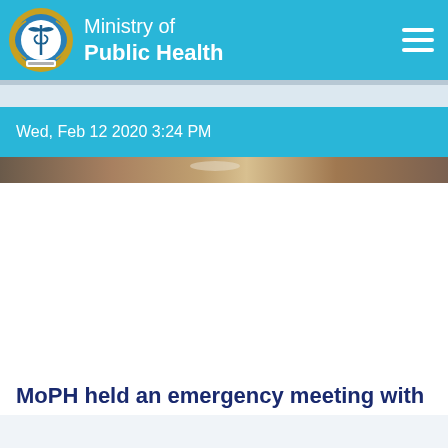[Figure (logo): Ministry of Public Health emblem/seal - circular badge with medical symbol on blue and gold background]
Ministry of Public Health
Wed, Feb 12 2020 3:24 PM
[Figure (photo): Partial photograph showing a meeting or building exterior, cropped]
MoPH held an emergency meeting with